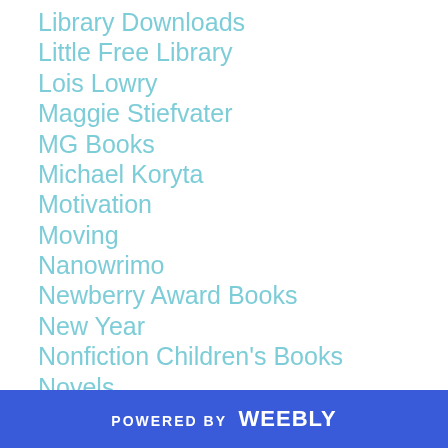Library Downloads
Little Free Library
Lois Lowry
Maggie Stiefvater
MG Books
Michael Koryta
Motivation
Moving
Nanowrimo
Newberry Award Books
New Year
Nonfiction Children's Books
Novels
Olivia
Picture Book Art
Picture Books
Post-apocalyptic Books
POWERED BY weebly